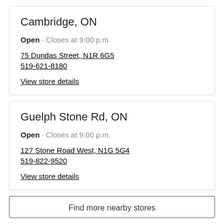Cambridge, ON
Open · Closes at 9:00 p.m.
75 Dundas Street, N1R 6G5
519-621-8180
View store details
Guelph Stone Rd, ON
Open · Closes at 9:00 p.m.
127 Stone Road West, N1G 5G4
519-822-9520
View store details
Find more nearby stores